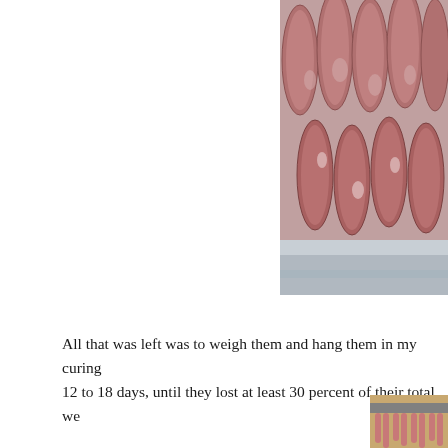[Figure (photo): Raw sausages in casings arranged in rows on a metal tray, viewed from above, showing raw ground meat texture]
All that was left was to weigh them and hang them in my curing 12 to 18 days, until they lost at least 30 percent of their total we
[Figure (photo): Cured sausages hanging vertically from a horizontal rod in a curing chamber, showing dried pink/red sausages in pairs]